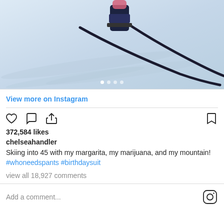[Figure (photo): Skier on snowy mountain slope, close-up of ski boots and skis on snow]
View more on Instagram
372,584 likes
chelseahandler
Skiing into 45 with my margarita, my marijuana, and my mountain! #whoneedspants #birthdaysuit
view all 18,927 comments
Add a comment...